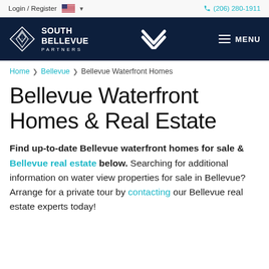Login / Register  (206) 280-1911
[Figure (logo): South Bellevue Partners logo with diamond icon and center chevron icon, white on dark navy background, with MENU hamburger icon on right]
Home > Bellevue > Bellevue Waterfront Homes
Bellevue Waterfront Homes & Real Estate
Find up-to-date Bellevue waterfront homes for sale & Bellevue real estate below. Searching for additional information on water view properties for sale in Bellevue? Arrange for a private tour by contacting our Bellevue real estate experts today!